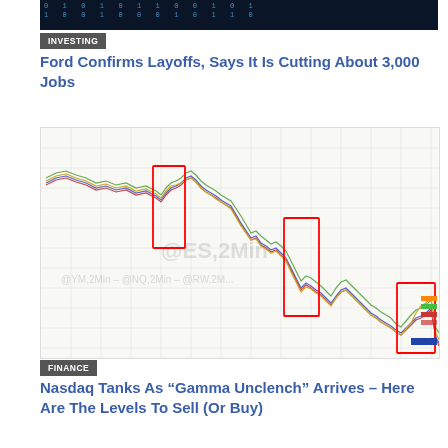[Figure (photo): Dark background with binary digits (0s and 1s) in blue/teal tones — technology/cybersecurity themed header image]
INVESTING
Ford Confirms Layoffs, Says It Is Cutting About 3,000 Jobs
[Figure (continuous-plot): Multi-line trading chart showing @ES,2Min – @YM,2Min – @NQ,2Min – @RW,2Min lines on a light grid background. Three red rectangles highlight specific drop zones in the chart. Lines trend downward overall with colored indicators on the right side.]
FINANCE
Nasdaq Tanks As "Gamma Unclench" Arrives – Here Are The Levels To Sell (Or Buy)